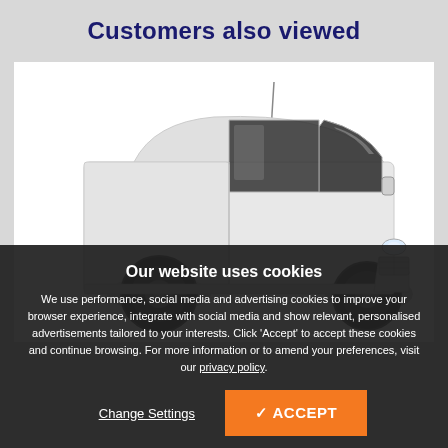Customers also viewed
[Figure (photo): White panel van (commercial van) shown from the front-right angle against a white background, with a radio antenna visible on the roof.]
Our website uses cookies
We use performance, social media and advertising cookies to improve your browser experience, integrate with social media and show relevant, personalised advertisements tailored to your interests. Click ‘Accept’ to accept these cookies and continue browsing. For more information or to amend your preferences, visit our privacy policy.
Change Settings
✓ ACCEPT